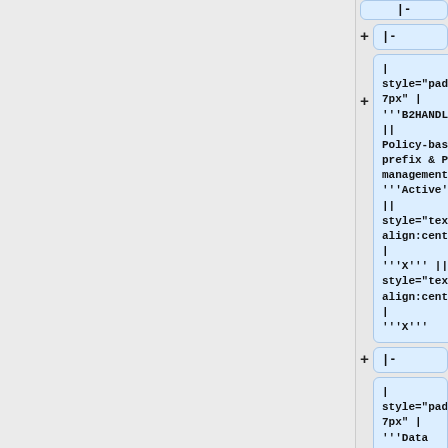|-
|-
| style="padding:7px" | '''B2HANDLE''' || Policy-based prefix & PID management || '''Active''' ||  || style="text-align:center;" | '''X''' || style="text-align:center;" | '''X'''
|-
| style="padding:7px" | '''Data Type Registry'''